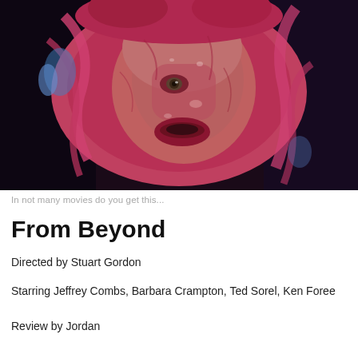[Figure (photo): Close-up movie still of a man's face covered in pink/magenta alien-like fleshy material, with dark background]
In not many movies do you get this...
From Beyond
Directed by Stuart Gordon
Starring Jeffrey Combs, Barbara Crampton, Ted Sorel, Ken Foree
Review by Jordan